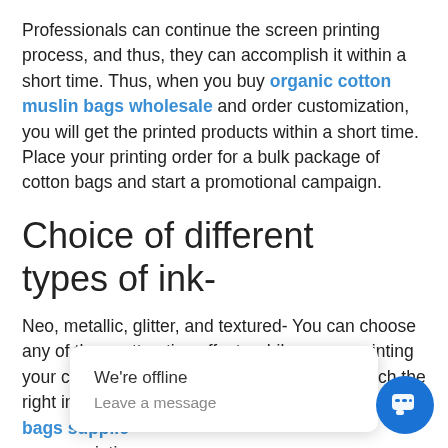Professionals can continue the screen printing process, and thus, they can accomplish it within a short time. Thus, when you buy organic cotton muslin bags wholesale and order customization, you will get the printed products within a short time. Place your printing order for a bulk package of cotton bags and start a promotional campaign.
Choice of different types of ink-
Neo, metallic, glitter, and textured- You can choose any of these attractive effects while screen printing your cotton bags. It will be easy for you to match the right ink colors based on yo... cotton bags supplie... screen printin... best result.